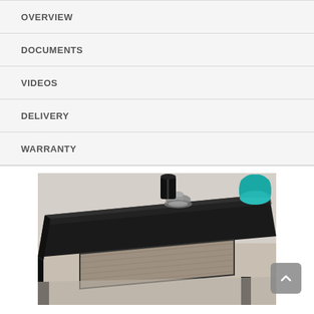OVERVIEW
DOCUMENTS
VIDEOS
DELIVERY
WARRANTY
[Figure (photo): Close-up photo of a black modern end table/side table with a glass top surface, showing a drawer with wood-grain front panel. A silver/chrome candle holder and a teal decorative vase are visible on top.]